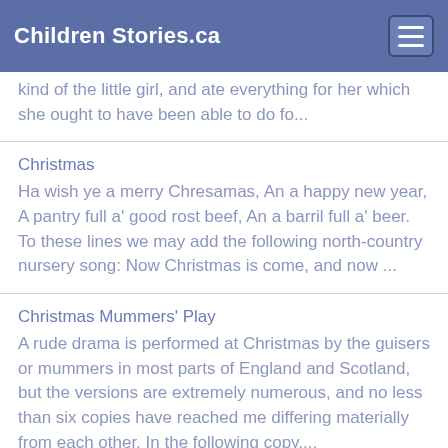Children Stories.ca
kind of the little girl, and ate everything for her which she ought to have been able to do fo...
Christmas
Ha wish ye a merry Chresamas, An a happy new year, A pantry full a' good rost beef, An a barril full a' beer. To these lines we may add the following north-country nursery song: Now Christmas is come, and now ...
Christmas Mummers' Play
A rude drama is performed at Christmas by the guisers or mummers in most parts of England and Scotland, but the versions are extremely numerous, and no less than six copies have reached me differing materially from each other. In the following copy,...
Cinderella